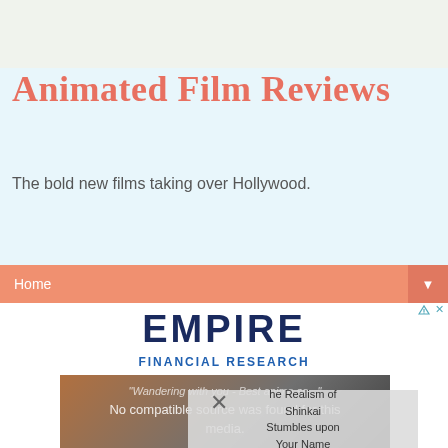Animated Film Reviews
The bold new films taking over Hollywood.
Home
[Figure (screenshot): Empire Financial Research advertisement banner with company name and promotional video showing a man's face with text 'No compatible source was found for this media.' and overlay showing 'he Realism of Shinkai Stumbles upon Your Name']